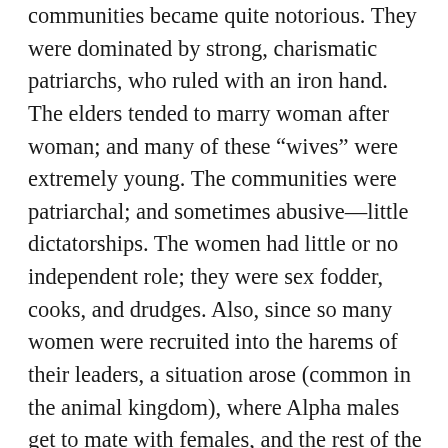communities became quite notorious. They were dominated by strong, charismatic patriarchs, who ruled with an iron hand. The elders tended to marry woman after woman; and many of these “wives” were extremely young. The communities were patriarchal; and sometimes abusive—little dictatorships. The women had little or no independent role; they were sex fodder, cooks, and drudges. Also, since so many women were recruited into the harems of their leaders, a situation arose (common in the animal kingdom), where Alpha males get to mate with females, and the rest of the males, the losers, are left to sulk on the beach or in the woods. In some polygamous communities, the situation was much the same: less-favored and